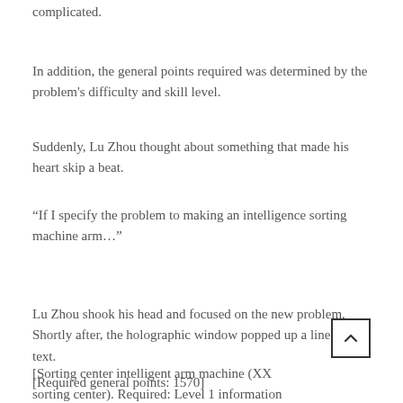complicated.
In addition, the general points required was determined by the problem's difficulty and skill level.
Suddenly, Lu Zhou thought about something that made his heart skip a beat.
“If I specify the problem to making an intelligence sorting machine arm…”
Lu Zhou shook his head and focused on the new problem. Shortly after, the holographic window popped up a line of text.
[Sorting center intelligent arm machine (XX sorting center). Required: Level 1 information science.]
[Required general points: 1570]